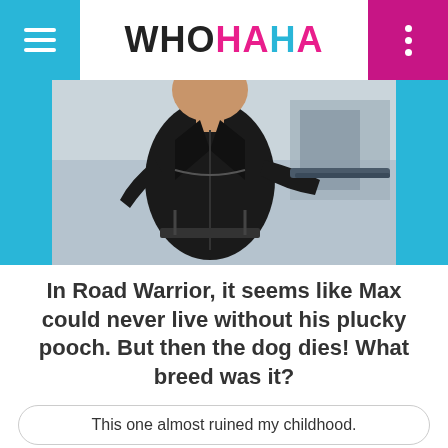WHOHAHA
[Figure (photo): A man in a black leather jacket holding a weapon, appearing to be a still from the Mad Max: Road Warrior film, flanked by cyan/blue side bars]
In Road Warrior, it seems like Max could never live without his plucky pooch. But then the dog dies! What breed was it?
This one almost ruined my childhood.
IT WAS HIS ONLY FRIEND.